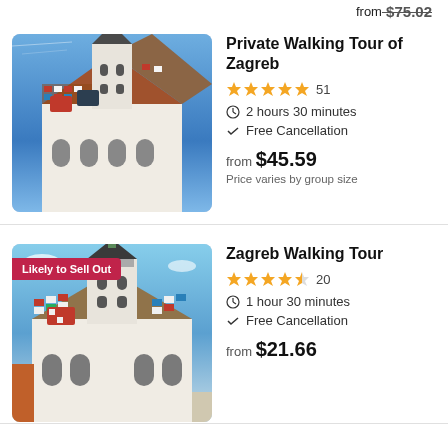from $75.02
Private Walking Tour of Zagreb
★★★★★ 51
2 hours 30 minutes
Free Cancellation
from $45.59
Price varies by group size
[Figure (photo): Photo of Zagreb St. Mark's Church with colorful tiled roof]
Zagreb Walking Tour
★★★★½ 20
1 hour 30 minutes
Free Cancellation
from $21.66
[Figure (photo): Photo of Zagreb St. Mark's Church with Likely to Sell Out badge]